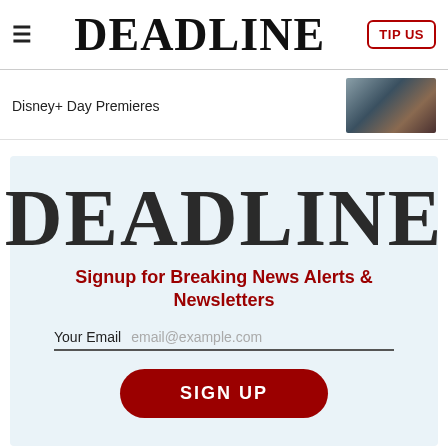DEADLINE
Disney+ Day Premieres
[Figure (photo): Thumbnail image of two people, appears to be a promotional still]
[Figure (logo): DEADLINE logo large text]
Signup for Breaking News Alerts & Newsletters
Your Email   email@example.com
SIGN UP